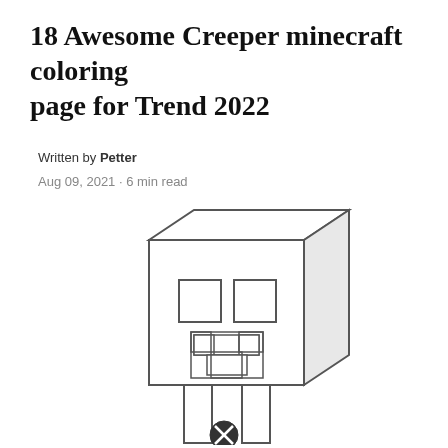18 Awesome Creeper minecraft coloring page for Trend 2022
Written by Petter
Aug 09, 2021 · 6 min read
[Figure (illustration): Line drawing of a Minecraft Creeper character head with blocky square eyes and a mouth pattern, sitting on a body/neck. A close button (X in circle) appears at the bottom center of the image.]